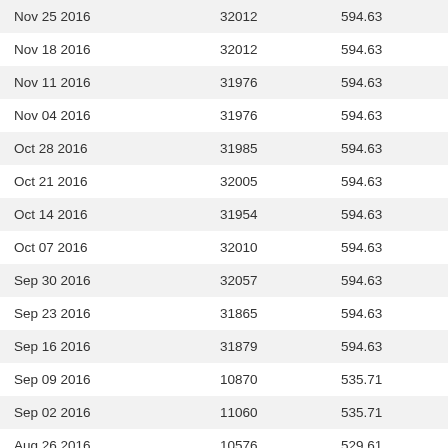| Nov 25 2016 | 32012 | 594.63 |
| Nov 18 2016 | 32012 | 594.63 |
| Nov 11 2016 | 31976 | 594.63 |
| Nov 04 2016 | 31976 | 594.63 |
| Oct 28 2016 | 31985 | 594.63 |
| Oct 21 2016 | 32005 | 594.63 |
| Oct 14 2016 | 31954 | 594.63 |
| Oct 07 2016 | 32010 | 594.63 |
| Sep 30 2016 | 32057 | 594.63 |
| Sep 23 2016 | 31865 | 594.63 |
| Sep 16 2016 | 31879 | 594.63 |
| Sep 09 2016 | 10870 | 535.71 |
| Sep 02 2016 | 11060 | 535.71 |
| Aug 26 2016 | 10576 | 529.61 |
| Aug 19 2016 | 10775 | 529.61 |
| Aug 12 2016 | 11190 | 530.95 |
| Aug 12 2016 | 29766 | 530.95 |